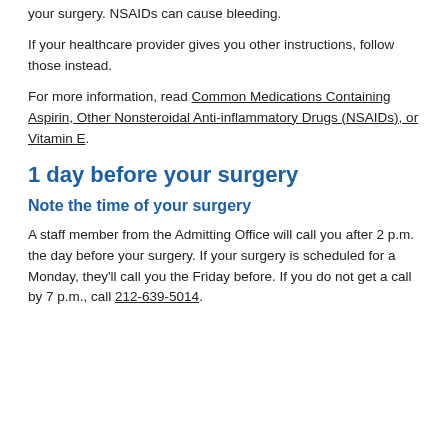your surgery. NSAIDs can cause bleeding.
If your healthcare provider gives you other instructions, follow those instead.
For more information, read Common Medications Containing Aspirin, Other Nonsteroidal Anti-inflammatory Drugs (NSAIDs), or Vitamin E.
1 day before your surgery
Note the time of your surgery
A staff member from the Admitting Office will call you after 2 p.m. the day before your surgery. If your surgery is scheduled for a Monday, they'll call you the Friday before. If you do not get a call by 7 p.m., call 212-639-5014.